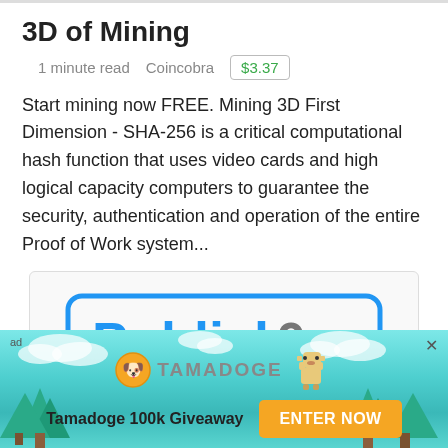3D of Mining
1 minute read   Coincobra   $3.37
Start mining now FREE. Mining 3D First Dimension - SHA-256 is a critical computational hash function that uses video cards and high logical capacity computers to guarantee the security, authentication and operation of the entire Proof of Work system...
[Figure (logo): Publish0x logo: text 'Publish0x' in blue and gray inside a rounded rectangle border]
[Figure (infographic): Tamadoge advertisement banner with cyan gradient background, trees on sides, Tamadoge coin logo, dog mascot, '100k Giveaway' text, and 'ENTER NOW' orange button]